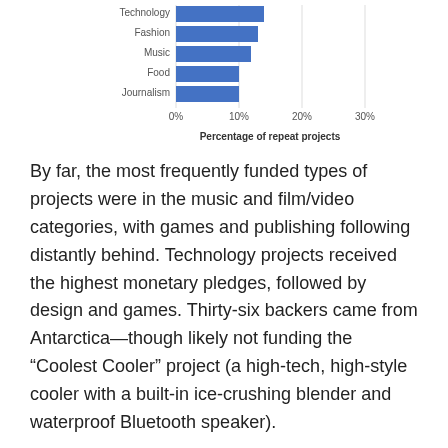[Figure (bar-chart): Percentage of repeat projects]
By far, the most frequently funded types of projects were in the music and film/video categories, with games and publishing following distantly behind. Technology projects received the highest monetary pledges, followed by design and games. Thirty-six backers came from Antarctica—though likely not funding the “Coolest Cooler” project (a high-tech, high-style cooler with a built-in ice-crushing blender and waterproof Bluetooth speaker).